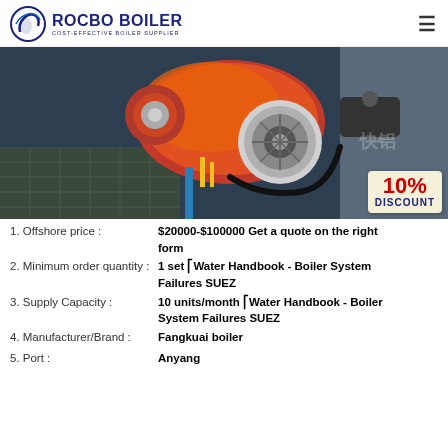ROCBO BOILER — COST-EFFECTIVE BOILER SUPPLIER
[Figure (photo): Industrial boiler burner unit, orange/red colored, mounted on dark blue equipment, with Chinese characters partially visible, and a 10% DISCOUNT badge in the lower right corner.]
1. Offshore price : $20000-$100000 Get a quote on the right form
2. Minimum order quantity : 1 set ⎡Water Handbook - Boiler System Failures SUEZ
3. Supply Capacity : 10 units/month ⎡Water Handbook - Boiler System Failures SUEZ
4. Manufacturer/Brand : Fangkuai boiler
5. Port : Anyang